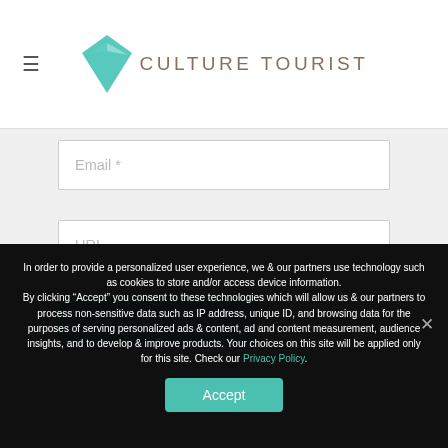CULTURE TOURIST
Email *
URL
POST COMMENT
In order to provide a personalized user experience, we & our partners use technology such as cookies to store and/or access device information. By clicking “Accept” you consent to these technologies which will allow us & our partners to process non-sensitive data such as IP address, unique ID, and browsing data for the purposes of serving personalized ads & content, ad and content measurement, audience insights, and to develop & improve products. Your choices on this site will be applied only for this site. Check our Privacy Policy.
Accept